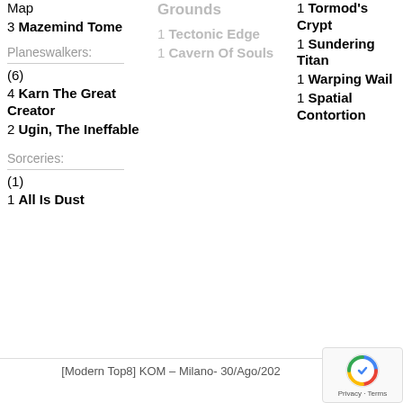Map
3 Mazemind Tome
Planeswalkers:
(6)
4 Karn The Great Creator
2 Ugin, The Ineffable
Sorceries:
(1)
1 All Is Dust
Grounds
1 Tectonic Edge
1 Cavern Of Souls
1 Tormod's Crypt
1 Sundering Titan
1 Warping Wail
1 Spatial Contortion
[Modern Top8] KOM – Milano- 30/Ago/202